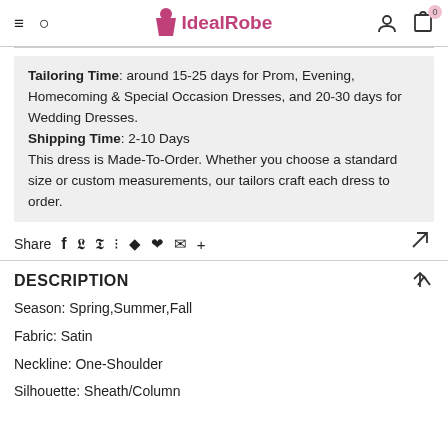IdealRobe
Tailoring Time: around 15-25 days for Prom, Evening, Homecoming & Special Occasion Dresses, and 20-30 days for Wedding Dresses. Shipping Time: 2-10 Days This dress is Made-To-Order. Whether you choose a standard size or custom measurements, our tailors craft each dress to order.
Share
DESCRIPTION
Season: Spring,Summer,Fall
Fabric: Satin
Neckline: One-Shoulder
Silhouette: Sheath/Column